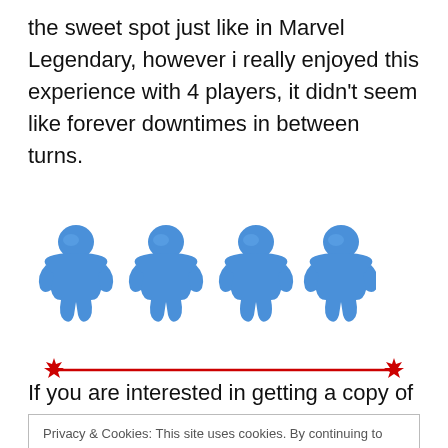the sweet spot just like in Marvel Legendary, however i really enjoyed this experience with 4 players, it didn't seem like forever downtimes in between turns.
[Figure (illustration): Four blue meeple figures (board game tokens) arranged in a row]
[Figure (infographic): A horizontal red divider line with red maple leaf icons on each end]
If you are interested in getting a copy of Marvel
Privacy & Cookies: This site uses cookies. By continuing to use this website, you agree to their use.
To find out more, including how to control cookies, see here: Cookie Policy